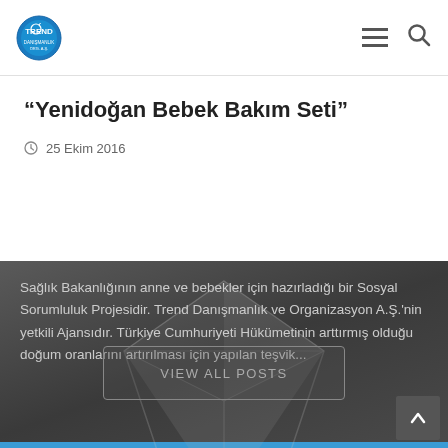Trend logo and navigation
“Yenidoğan Bebek Bakım Seti”
25 Ekim 2016
Sağlık Bakanlığının anne ve bebekler için hazırladığı bir Sosyal Sorumluluk Projesidir. Trend Danışmanlık ve Organizasyon A.S.’nin yetkili Ajansıdır. Türkiye Cumhuriyeti Hükümetinin arttırmış olduğu doğum oranlarını artırılması için yapılan teşvik...
VIEW ALL POSTS